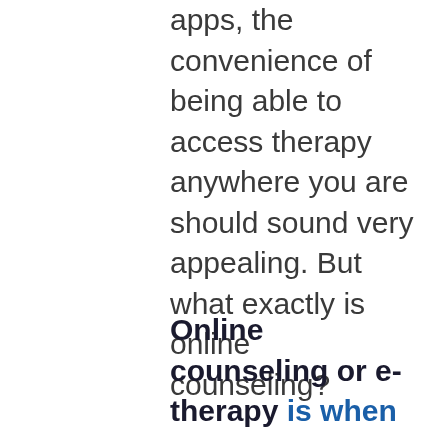apps, the convenience of being able to access therapy anywhere you are should sound very appealing. But what exactly is online counseling?
Online counseling or e-therapy is when